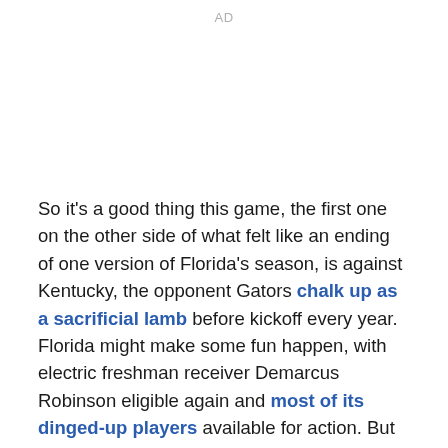AD
So it's a good thing this game, the first one on the other side of what felt like an ending of one version of Florida's season, is against Kentucky, the opponent Gators chalk up as a sacrificial lamb before kickoff every year. Florida might make some fun happen, with electric freshman receiver Demarcus Robinson eligible again and most of its dinged-up players available for action. But Florida's likely to get a win, fun or not, and that staves off the panic and pain that would come with a loss.